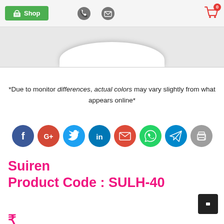Shop
[Figure (photo): Product image strip showing top of a white product against grey background]
*Due to monitor differences, actual colors may vary slightly from what appears online*
[Figure (infographic): Social media share buttons: Facebook, Google+, Twitter, LinkedIn, Email, WhatsApp, Telegram, Print]
Suiren
Product Code : SULH-40